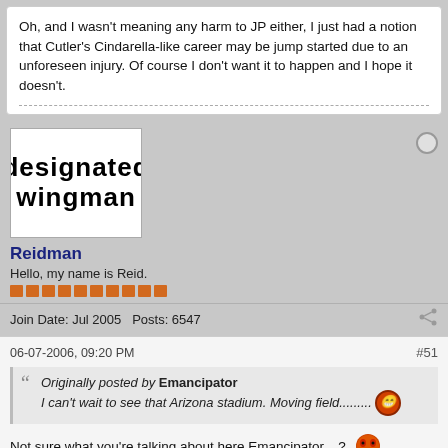Oh, and I wasn't meaning any harm to JP either, I just had a notion that Cutler's Cindarella-like career may be jump started due to an unforeseen injury. Of course I don't want it to happen and I hope it doesn't.
Reidman
Hello, my name is Reid.
Join Date: Jul 2005   Posts: 6547
06-07-2006, 09:20 PM
#51
Originally posted by Emancipator
I can't wait to see that Arizona stadium. Moving field.........
Not sure what you're talking about here Emancipator....?